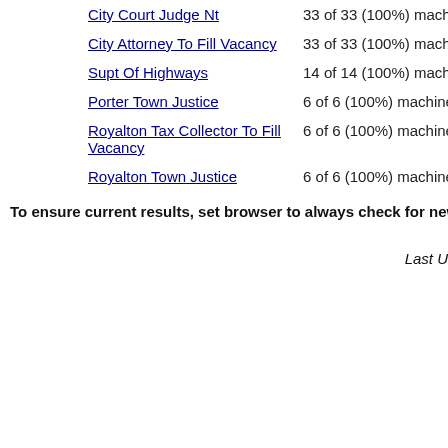City Court Judge Nt — 33 of 33 (100%) machines re
City Attorney To Fill Vacancy — 33 of 33 (100%) machines re
Supt Of Highways — 14 of 14 (100%) machines re
Porter Town Justice — 6 of 6 (100%) machines repo
Royalton Tax Collector To Fill Vacancy — 6 of 6 (100%) machines repo
Royalton Town Justice — 6 of 6 (100%) machines repo
To ensure current results, set browser to always check for new version o
Last U